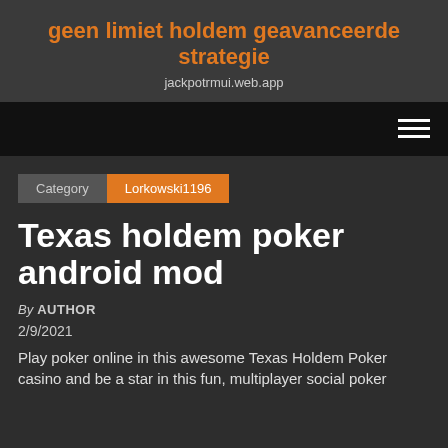geen limiet holdem geavanceerde strategie
jackpotrmui.web.app
Category  Lorkowski1196
Texas holdem poker android mod
By AUTHOR
2/9/2021
Play poker online in this awesome Texas Holdem Poker casino and be a star in this fun, multiplayer social poker